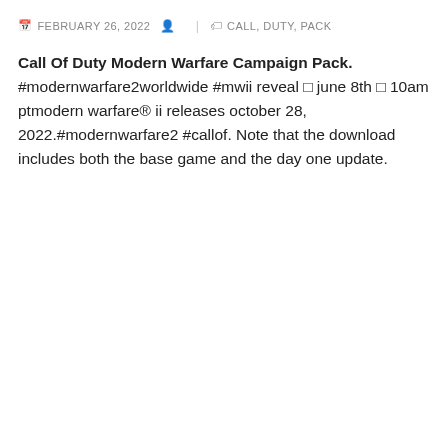FEBRUARY 26, 2022    CALL, DUTY, PACK
Call Of Duty Modern Warfare Campaign Pack. #modernwarfare2worldwide #mwii reveal 🔫 june 8th 🕙 10am ptmodern warfare® ii releases october 28, 2022.#modernwarfare2 #callof. Note that the download includes both the base game and the day one update.